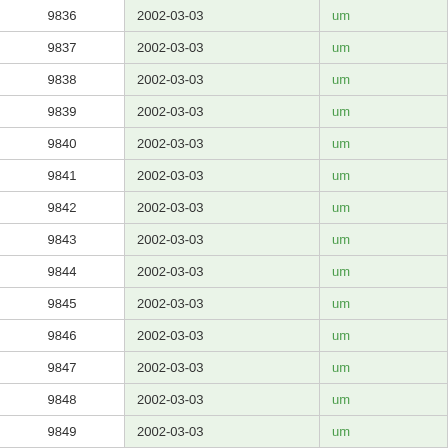| ID | Date | URL |
| --- | --- | --- |
| 9836 | 2002-03-03 | um… |
| 9837 | 2002-03-03 | um… |
| 9838 | 2002-03-03 | um… |
| 9839 | 2002-03-03 | um… |
| 9840 | 2002-03-03 | um… |
| 9841 | 2002-03-03 | um… |
| 9842 | 2002-03-03 | um… |
| 9843 | 2002-03-03 | um… |
| 9844 | 2002-03-03 | um… |
| 9845 | 2002-03-03 | um… |
| 9846 | 2002-03-03 | um… |
| 9847 | 2002-03-03 | um… |
| 9848 | 2002-03-03 | um… |
| 9849 | 2002-03-03 | um… |
| 9850 | 2002-03-03 | um… |
| 9851 | 2002-03-03 | um… |
| 9852 | 2002-03-03 | um… |